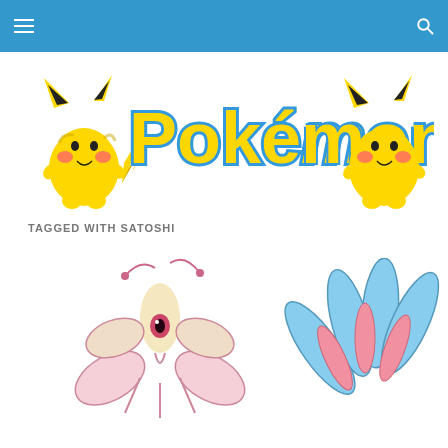Navigation header bar with hamburger menu and search icon
[Figure (logo): Pokémon logo with Pikachu on each side — yellow Pokémon logo text with blue outline, flanked by two Pikachu illustrations]
TAGGED WITH SATOSHI
[Figure (illustration): Two Pokémon illustrations — a pink/cream Beautifly-like Pokémon on the left and a blue/pink Beautifly Pokémon on the right, partially cropped at bottom]